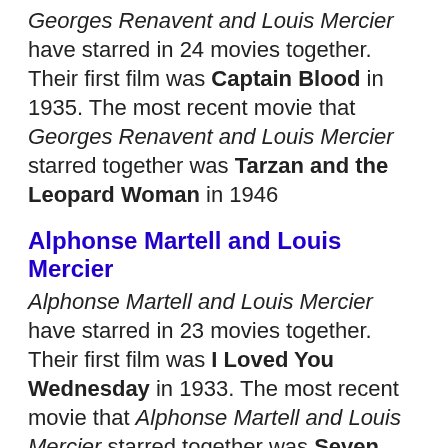Georges Renavent and Louis Mercier have starred in 24 movies together. Their first film was Captain Blood in 1935. The most recent movie that Georges Renavent and Louis Mercier starred together was Tarzan and the Leopard Woman in 1946
Alphonse Martell and Louis Mercier
Alphonse Martell and Louis Mercier have starred in 23 movies together. Their first film was I Loved You Wednesday in 1933. The most recent movie that Alphonse Martell and Louis Mercier starred together was Seven Thieves in 1960
George Davis and Louis Mercier
George Davis and Louis Mercier have starred in 23 movies together. Their first film was La piste des géants in 1931. The most recent movie that George Davis and Louis Mercier starred together was The Man Who Understood Women in 1959